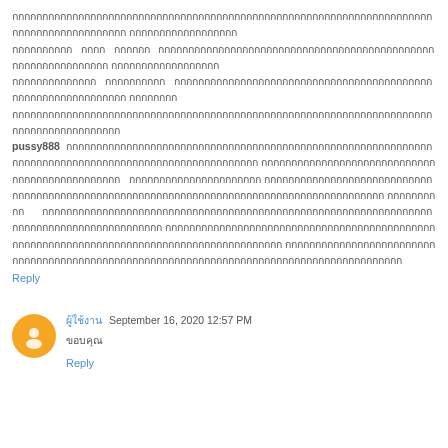Thai text content block with pussy888 mention and Thai script paragraphs
Reply
ผู้ใช้งาน September 16, 2020 12:57 PM
ขอบคุณ
Reply